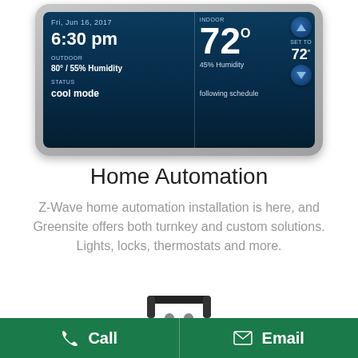[Figure (photo): Smart thermostat display showing Fri Jun 16 2017 6:30 pm, indoor 72 degrees, outdoor 80 degrees / 55% Humidity, 45% Humidity, status cool mode, following schedule, set to 72 degrees]
Home Automation
Z-Wave home automation installation is here, and Greensite offers both turnkey and custom solutions. Lights, locks, thermostats and more.
[Figure (photo): Red metal toolbox with black handle, partially visible at bottom of page]
Call   Email